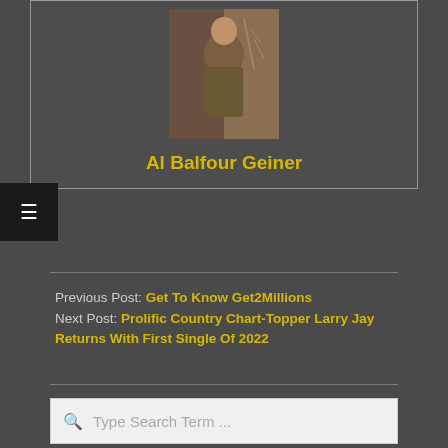[Figure (photo): Photo of Al Balfour Geiner, a man in a jacket standing outdoors]
Al Balfour Geiner
Previous Post: Get To Know Get2Millions
Next Post: Prolific Country Chart-Topper Larry Jay Returns With First Single Of 2022
Type Search Term ...